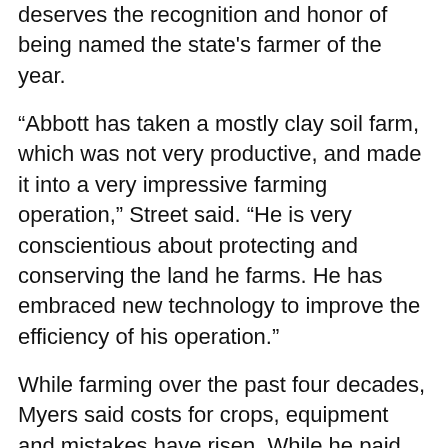deserves the recognition and honor of being named the state's farmer of the year.
“Abbott has taken a mostly clay soil farm, which was not very productive, and made it into a very impressive farming operation,” Street said. “He is very conscientious about protecting and conserving the land he farms. He has embraced new technology to improve the efficiency of his operation.”
While farming over the past four decades, Myers said costs for crops, equipment and mistakes have risen. While he paid only $12,500 for his first combine in 1972, he said he spent $750,000 for two new combines this year.
“You can buy a pretty nice house for that price,” Myers said. “You used to be able to learn everything from your forefathers or just guess and learn through mistakes. Now, though, mistakes are too costly, so you have to